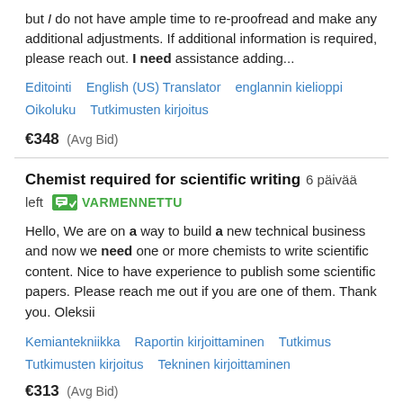but I do not have ample time to re-proofread and make any additional adjustments. If additional information is required, please reach out. I need assistance adding...
Editointi   English (US) Translator   englannin kielioppi   Oikoluku   Tutkimusten kirjoitus
€348  (Avg Bid)
Chemist required for scientific writing  6 päivää left  VARMENNETTU
Hello, We are on a way to build a new technical business and now we need one or more chemists to write scientific content. Nice to have experience to publish some scientific papers. Please reach me out if you are one of them. Thank you. Oleksii
Kemiantekniikka   Raportin kirjoittaminen   Tutkimus   Tutkimusten kirjoitus   Tekninen kirjoittaminen
€313  (Avg Bid)